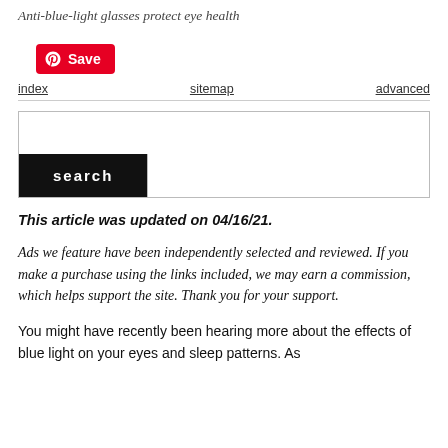Anti-blue-light glasses protect eye health
[Figure (other): Pinterest Save button with Pinterest logo icon]
index   sitemap   advanced
[Figure (other): Search input box with search button]
This article was updated on 04/16/21.
Ads we feature have been independently selected and reviewed. If you make a purchase using the links included, we may earn a commission, which helps support the site. Thank you for your support.
You might have recently been hearing more about the effects of blue light on your eyes and sleep patterns. As